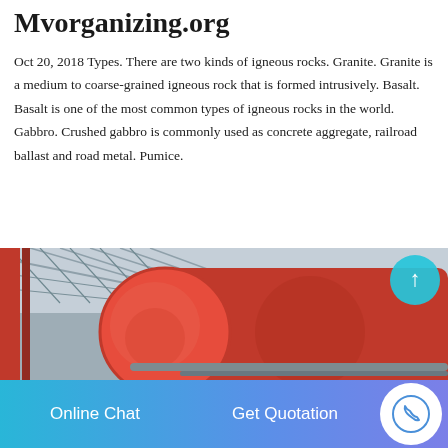Mvorganizing.org
Oct 20, 2018 Types. There are two kinds of igneous rocks. Granite. Granite is a medium to coarse-grained igneous rock that is formed intrusively. Basalt. Basalt is one of the most common types of igneous rocks in the world. Gabbro. Crushed gabbro is commonly used as concrete aggregate, railroad ballast and road metal. Pumice.
[Figure (photo): Industrial red cylindrical drum or roller inside a factory/warehouse with steel truss roof structure visible in background.]
Online Chat   Get Quotation